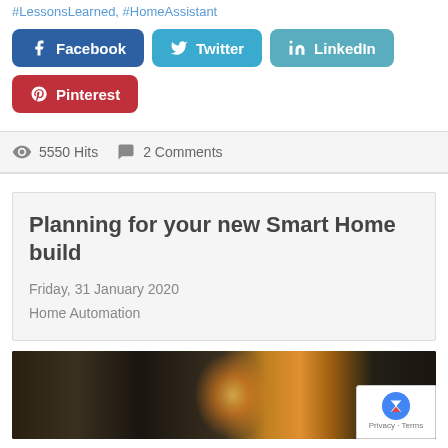#LessonsLearned, #HomeAssistant
Facebook | Twitter | LinkedIn | Pinterest
5550 Hits   2 Comments
Planning for your new Smart Home build
Friday, 31 January 2020
Home Automation
[Figure (photo): Dark photograph of an Edison-style incandescent light bulb glowing against a dark background]